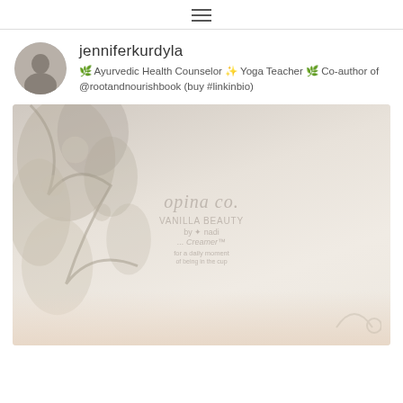≡ (hamburger menu icon)
jenniferkurdyla
🌿 Ayurvedic Health Counselor ✨ Yoga Teacher 🌿 Co-author of @rootandnourishbook (buy #linkinbio)
[Figure (photo): A faded lifestyle photo featuring a person partially obscured by hanging plants/flowers on the left side, with a product in the center-right area. The product appears to be labeled 'opina co. VANILLA BEAUTY ... Creamer'. Background shows a misty outdoor scene with soft pink/beige tones.]